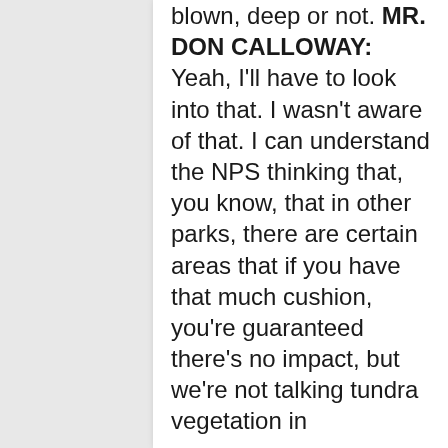blown, deep or not. MR. DON CALLOWAY: Yeah, I'll have to look into that. I wasn't aware of that. I can understand the NPS thinking that, you know, that in other parks, there are certain areas that if you have that much cushion, you're guaranteed there's no impact, but we're not talking tundra vegetation in